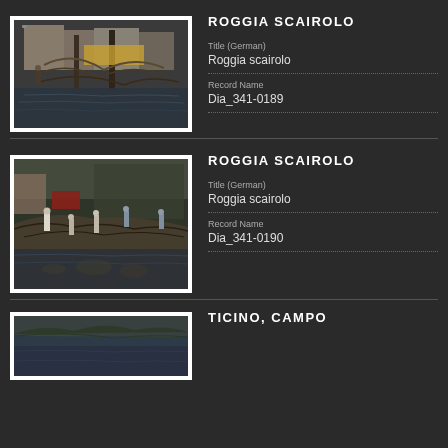ROGGIA SCAIROLO
Title (German)
Roggia scairolo
Record Name
Dia_341-0189
[Figure (photo): Outdoor scene near a canal or water channel with bare trees, brush and debris, buildings in background, winter or late autumn setting]
ROGGIA SCAIROLO
Title (German)
Roggia scairolo
Record Name
Dia_341-0190
[Figure (photo): Workers clearing brush and debris near a waterway or canal, with bare trees, reflective water, outdoor winter scene]
TICINO, CAMPO
[Figure (photo): Partial view of a river or waterway scene, partially cropped at bottom of page]